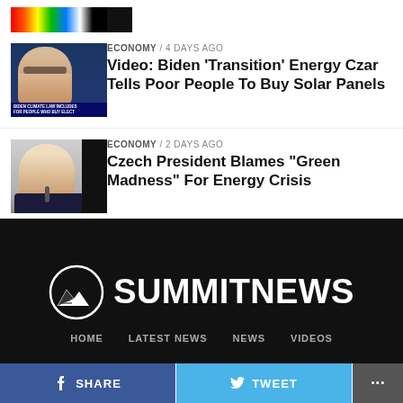[Figure (photo): Partial thumbnail image at top - colorful test bars and dark shape]
ECONOMY / 4 days ago
Video: Biden ‘Transition’ Energy Czar Tells Poor People To Buy Solar Panels
[Figure (photo): Thumbnail of woman at news desk with caption 'BIDEN CLIMATE LAW INCLUDES FOR PEOPLE WHO BUY ELECT']
ECONOMY / 2 days ago
Czech President Blames “Green Madness” For Energy Crisis
[Figure (photo): Thumbnail of older man in suit at press conference with microphone]
[Figure (logo): SummitNews logo - mountain icon with SUMMITNEWS text in white on black background]
HOME   LATEST NEWS   NEWS   VIDEOS
SHARE   TWEET   ...